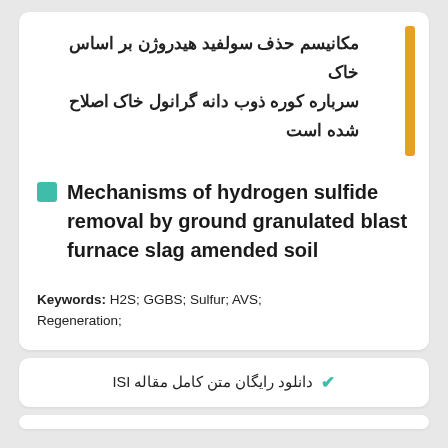مکانیسم حذف سولفید هیدروژن بر اساس خاک سرباره کوره ذوب دانه گرانول خاک اصلاح شده است
Mechanisms of hydrogen sulfide removal by ground granulated blast furnace slag amended soil
Keywords: H2S; GGBS; Sulfur; AVS; Regeneration;
✔ دانلود رایگان متن کامل مقاله ISI